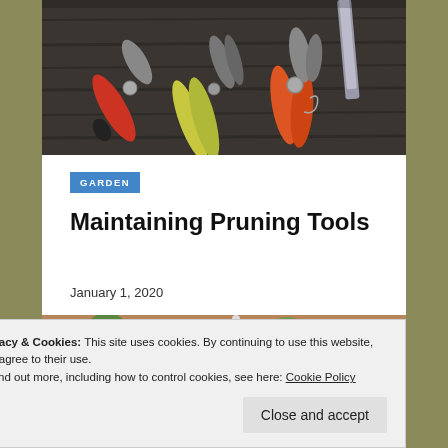[Figure (photo): Photo of pruning shears and garden tools with red and yellow handles laid on a wooden surface]
GARDEN
Maintaining Pruning Tools
January 1, 2020
[Figure (photo): Photo of terracotta flower pots with plants and gardening tools]
Privacy & Cookies: This site uses cookies. By continuing to use this website, you agree to their use.
To find out more, including how to control cookies, see here: Cookie Policy
Close and accept